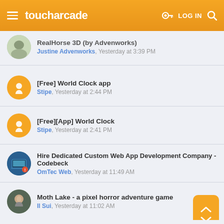toucharcade — LOG IN
RealHorse 3D (by Advenworks) — Justine Advenworks, Yesterday at 3:39 PM
[Free] World Clock app — Stipe, Yesterday at 2:44 PM
[Free][App] World Clock — Stipe, Yesterday at 2:41 PM
Hire Dedicated Custom Web App Development Company - Codebeck — OmTec Web, Yesterday at 11:49 AM
Moth Lake - a pixel horror adventure game — Il Sui, Yesterday at 11:02 AM
PXLPLAY T-shirt and Sticker pack Giveaway Ends Sept 5 — ValerieGotcher, Tuesday at 9:01 PM